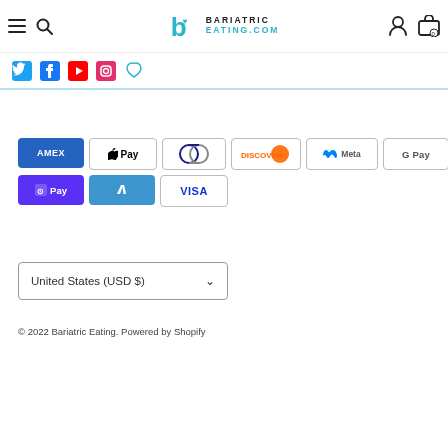Bariatric Eating - BariatricEating.com
[Figure (logo): Bariatric Eating website header with logo, hamburger menu, search, user and cart icons]
[Figure (infographic): Social media icons: Twitter, Facebook, YouTube, Instagram, Pinterest/heart]
[Figure (infographic): Payment method badges: American Express, Apple Pay, Diners Club, Discover, Meta Pay, Google Pay, Mastercard, PayPal, Shop Pay, Venmo, Visa]
United States (USD $)
© 2022 Bariatric Eating. Powered by Shopify